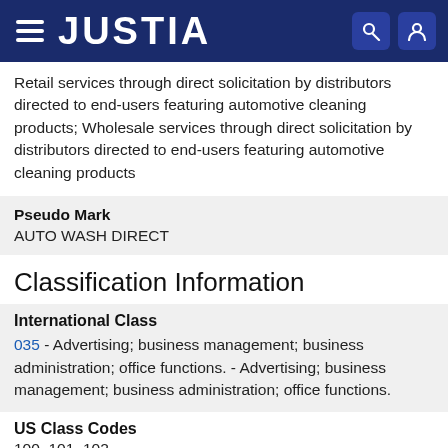JUSTIA
Retail services through direct solicitation by distributors directed to end-users featuring automotive cleaning products; Wholesale services through direct solicitation by distributors directed to end-users featuring automotive cleaning products
Pseudo Mark
AUTO WASH DIRECT
Classification Information
International Class
035 - Advertising; business management; business administration; office functions. - Advertising; business management; business administration; office functions.
US Class Codes
100, 101, 102